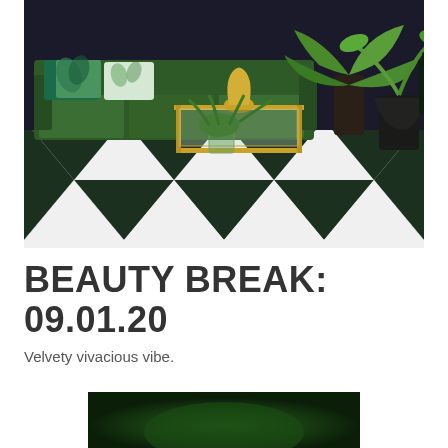[Figure (photo): Interior photo of a stylish living room featuring a dark green velvet sofa with tropical patterned cushions, a brass/gold side table with glass shelves holding green plants, lush tropical plants in dark vases, and a bold black and white diamond/harlequin patterned floor.]
BEAUTY BREAK: 09.01.20
Velvety vivacious vibe.
[Figure (photo): Partial photo showing a dark green blurred background, possibly a close-up of a green velvet or plant surface.]